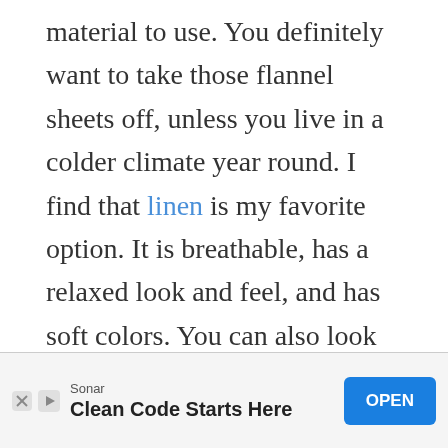material to use.  You definitely want to take those flannel sheets off, unless you live in a colder climate year round.  I find that linen is my favorite option.  It is breathable, has a relaxed look and feel, and has soft colors.  You can also look into cotton blends, that are breathable and have cooling technology.  Keep things light and airy.  You can often tell just by touching a blanket or comforter that its going to be heavy and uncomfortable in the summer.
[Figure (other): Advertisement banner: Sonar - Clean Code Starts Here, with OPEN button]